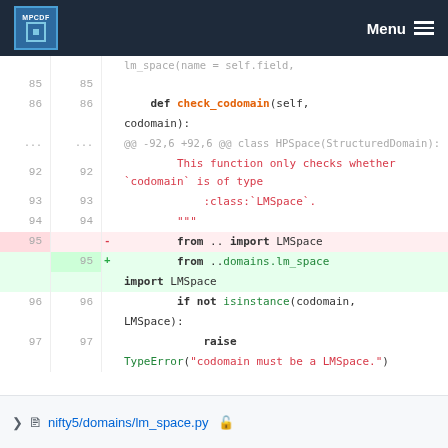MPCDF Menu
[Figure (screenshot): Code diff view showing Python source file changes. Lines 85-97 of a Python file are shown. A function def check_codomain(self, codomain) is shown. Line 95 is removed (from .. import LMSpace) and replaced with (from ..domains.lm_space import LMSpace). Lines 96-97 show: if not isinstance(codomain, LMSpace): raise TypeError('codomain must be a LMSpace.')]
nifty5/domains/lm_space.py